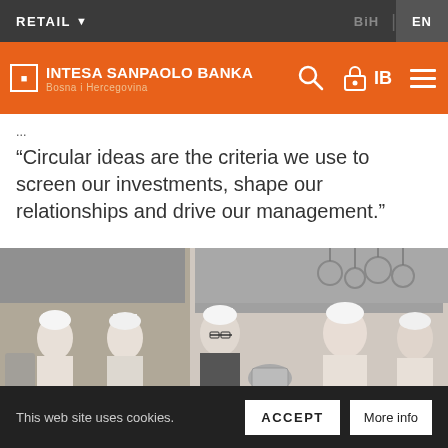RETAIL | BIH EN
[Figure (logo): Intesa Sanpaolo Banka Bosna i Hercegovina logo on orange navigation bar with search icon, lock/IB icon, and hamburger menu]
“Circular ideas are the criteria we use to screen our investments, shape our relationships and drive our management.”
[Figure (photo): Chefs in white uniforms and toques working together in a professional kitchen with stainless steel equipment and hanging pots]
This web site uses cookies. ACCEPT More info